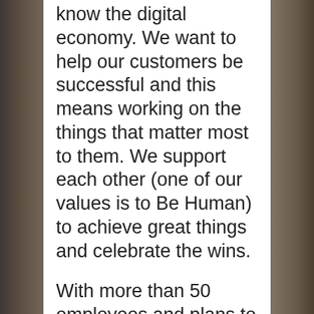know the digital economy. We want to help our customers be successful and this means working on the things that matter most to them. We support each other (one of our values is to Be Human) to achieve great things and celebrate the wins.

With more than 50 employees and plans to double in the next year, it is an exciting time to grow your career at Flippa.  We are a global team with two offices